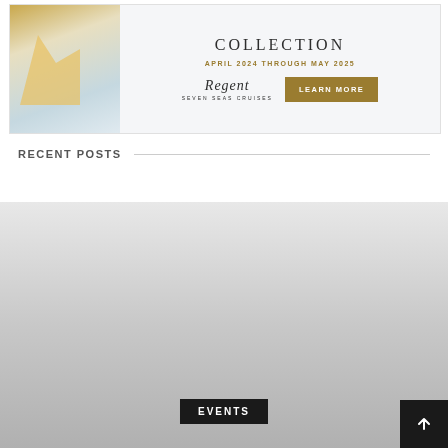[Figure (illustration): Regent Seven Seas Cruises advertisement banner showing Mediterranean architecture on the left, with text 'COLLECTION', 'APRIL 2024 THROUGH MAY 2025', Regent Seven Seas Cruises logo, and a gold 'LEARN MORE' button.]
RECENT POSTS
[Figure (photo): A large image placeholder with light-to-medium gray gradient, with a black 'EVENTS' badge overlaid at the bottom center.]